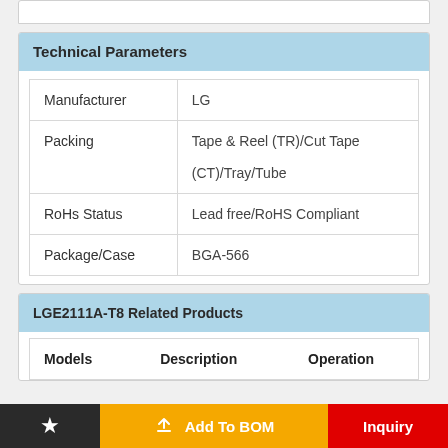Technical Parameters
|  |  |
| --- | --- |
| Manufacturer | LG |
| Packing | Tape & Reel (TR)/Cut Tape (CT)/Tray/Tube |
| RoHs Status | Lead free/RoHS Compliant |
| Package/Case | BGA-566 |
LGE2111A-T8 Related Products
| Models | Description | Operation |
| --- | --- | --- |